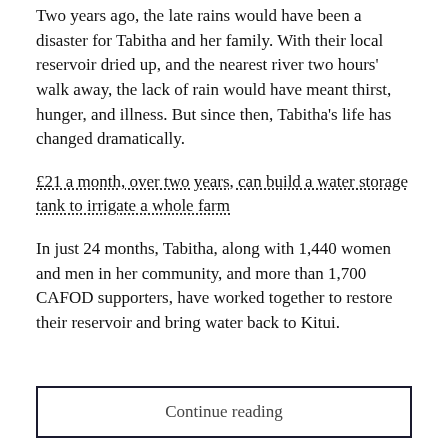Two years ago, the late rains would have been a disaster for Tabitha and her family. With their local reservoir dried up, and the nearest river two hours' walk away, the lack of rain would have meant thirst, hunger, and illness. But since then, Tabitha's life has changed dramatically.
£21 a month, over two years, can build a water storage tank to irrigate a whole farm
In just 24 months, Tabitha, along with 1,440 women and men in her community, and more than 1,700 CAFOD supporters, have worked together to restore their reservoir and bring water back to Kitui.
Continue reading